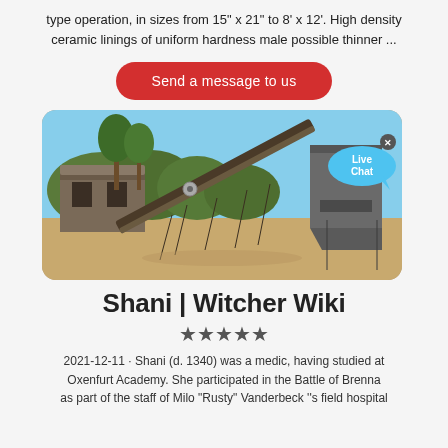type operation, in sizes from 15" x 21" to 8' x 12'. High density ceramic linings of uniform hardness male possible thinner ...
Send a message to us
[Figure (photo): Industrial site with conveyor belt machinery, stone building and large metal silo/hopper against blue sky with trees in background. Live Chat bubble in upper-right corner.]
Shani | Witcher Wiki
★★★★★
2021-12-11 · Shani (d. 1340) was a medic, having studied at Oxenfurt Academy. She participated in the Battle of Brenna as part of the staff of Milo "Rusty" Vanderbeck ''s field hospital